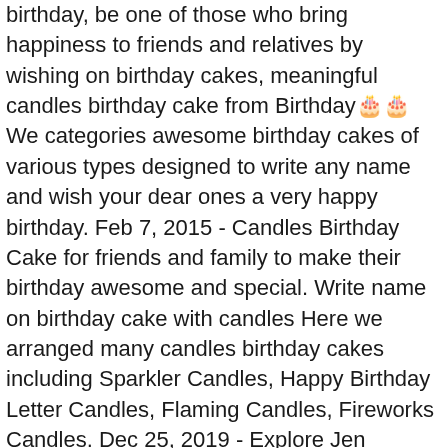birthday, be one of those who bring happiness to friends and relatives by wishing on birthday cakes, meaningful candles birthday cake from Birthday🎂🎂 We categories awesome birthday cakes of various types designed to write any name and wish your dear ones a very happy birthday. Feb 7, 2015 - Candles Birthday Cake for friends and family to make their birthday awesome and special. Write name on birthday cake with candles Here we arranged many candles birthday cakes including Sparkler Candles, Happy Birthday Letter Candles, Flaming Candles, Fireworks Candles. Dec 25, 2019 - Explore Jen Celestin's board "Birthday cake write name" on Pinterest. Want to celebrate your birthday in a special way? You will like it. Decorate candles birthday cake with the most beautiful sparkling name. Get a birthday cake with candles and name. Write your name on colorful birthday cake candles, birthday cake candles with your name is the warmest and most meaningful birthday gift you ever knew. Make feel them extra special. Besides, there are many birthday cakes with names and pictures waiting for you at Bomo 🎂 Make your name right by the most the best name bake at